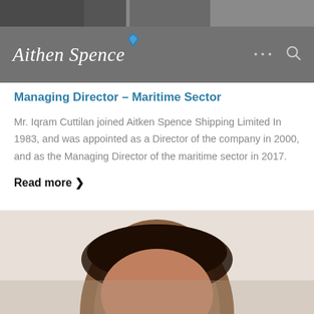[Figure (photo): Top portion of a photo strip showing people in formal attire, partially cropped at top of page]
Aitken Spence — navigation bar with logo, ellipsis menu, and search icon
Managing Director – Maritime Sector
Mr. Iqram Cuttilan joined Aitken Spence Shipping Limited In 1983, and was appointed as a Director of the company in 2000, and as the Managing Director of the maritime sector in 2017.
Read more ›
[Figure (photo): Partial portrait photo of a person, showing the top of their head with dark hair, cropped at bottom of page]